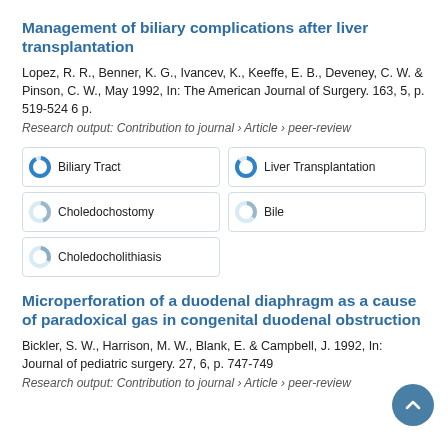Management of biliary complications after liver transplantation
Lopez, R. R., Benner, K. G., Ivancev, K., Keeffe, E. B., Deveney, C. W. & Pinson, C. W., May 1992, In: The American Journal of Surgery. 163, 5, p. 519-524 6 p.
Research output: Contribution to journal › Article › peer-review
Biliary Tract
Liver Transplantation
Choledochostomy
Bile
Choledocholithiasis
Microperforation of a duodenal diaphragm as a cause of paradoxical gas in congenital duodenal obstruction
Bickler, S. W., Harrison, M. W., Blank, E. & Campbell, J. 1992, In: Journal of pediatric surgery. 27, 6, p. 747-749
Research output: Contribution to journal › Article › peer-review